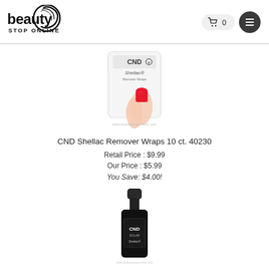[Figure (logo): Beauty Stop Online logo with stylized swirl graphic and text 'beauty STOP ONLINE']
[Figure (photo): CND Shellac Remover Wraps 10 ct. 40230 product image showing a hand with red nail polish holding a foil wrap packet]
CND Shellac Remover Wraps 10 ct. 40230
Retail Price : $9.99
Our Price : $5.99
You Save: $4.00!
[Figure (photo): CND Shellac solar nail gel bottle in dark/black color, partially visible]